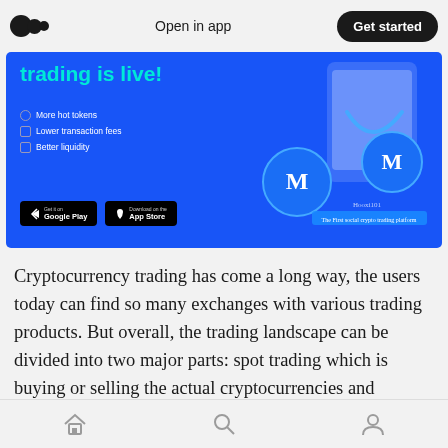Open in app  Get started
[Figure (illustration): Blue promotional banner for a crypto trading platform. Shows text 'trading is live!' in teal, with bullet points: More hot tokens, Lower transaction fees, Better liquidity. Has Google Play and App Store download buttons. Right side shows decorative 3D coins and phone graphic. Tagline: The First social crypto trading platform.]
Cryptocurrency trading has come a long way, the users today can find so many exchanges with various trading products. But overall, the trading landscape can be divided into two major parts: spot trading which is buying or selling the actual cryptocurrencies and profiting from the actual price change, and derivative trading which
Home  Search  Profile